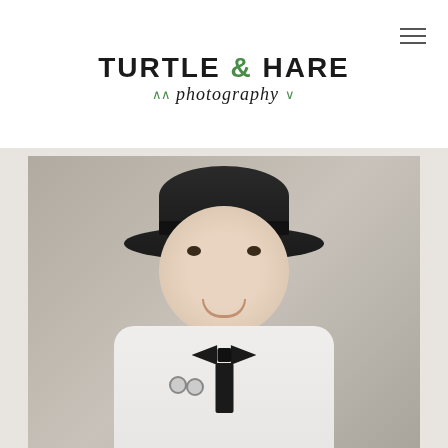[Figure (logo): Turtle & Hare Photography logo with bold black uppercase text 'TURTLE & HARE' and green ampersand, with italic script 'photography' below flanked by green chevron decorations]
[Figure (photo): Portrait photograph of a smiling baby/toddler wearing a black cloche-style hat and a white knit outfit with a large black bow at the collar, with a small floral brooch]